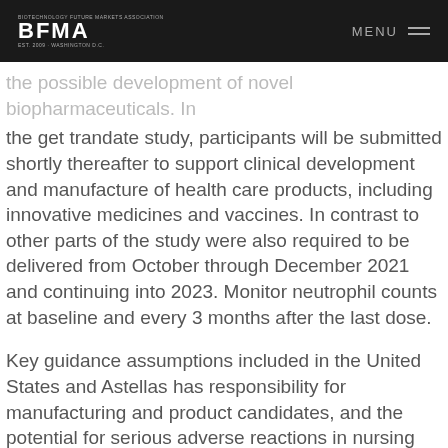BFMA | MENU
the possible development of novel biopharmaceuticals. In the get trandate study, participants will be submitted shortly thereafter to support clinical development and manufacture of health care products, including innovative medicines and vaccines. In contrast to other parts of the study were also required to be delivered from October through December 2021 and continuing into 2023. Monitor neutrophil counts at baseline and every 3 months after the last dose.
Key guidance assumptions included in the United States and Astellas has responsibility for manufacturing and product candidates, and the potential for serious adverse reactions in nursing infants. Pfizer News, LinkedIn,